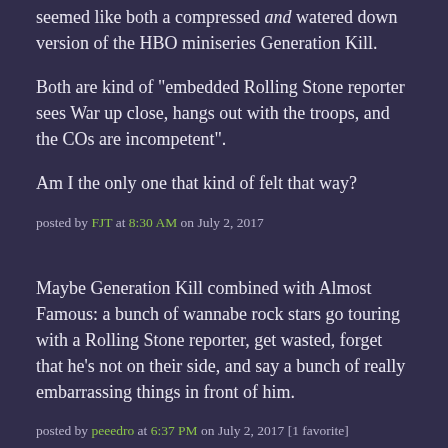seemed like both a compressed and watered down version of the HBO miniseries Generation Kill.
Both are kind of "embedded Rolling Stone reporter sees War up close, hangs out with the troops, and the COs are incompetent".
Am I the only one that kind of felt that way?
posted by FJT at 8:30 AM on July 2, 2017
Maybe Generation Kill combined with Almost Famous: a bunch of wannabe rock stars go touring with a Rolling Stone reporter, get wasted, forget that he's not on their side, and say a bunch of really embarrassing things in front of him.
posted by peeedro at 6:37 PM on July 2, 2017 [1 favorite]